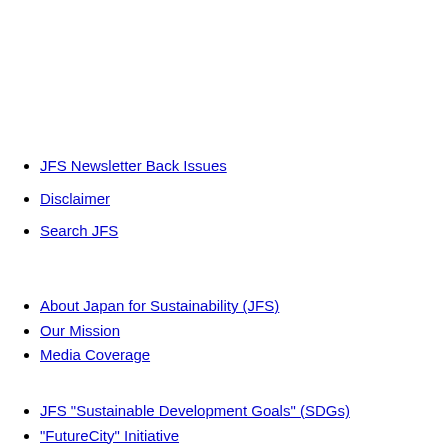JFS Newsletter Back Issues
Disclaimer
Search JFS
About Japan for Sustainability (JFS)
Our Mission
Media Coverage
JFS "Sustainable Development Goals" (SDGs)
"FutureCity" Initiative